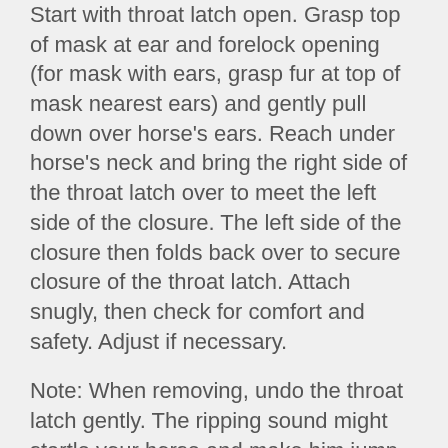Start with throat latch open. Grasp top of mask at ear and forelock opening (for mask with ears, grasp fur at top of mask nearest ears) and gently pull down over horse's ears. Reach under horse's neck and bring the right side of the throat latch over to meet the left side of the closure. The left side of the closure then folds back over to secure closure of the throat latch. Attach snugly, then check for comfort and safety. Adjust if necessary.
Note: When removing, undo the throat latch gently. The ripping sound might startle your horse and make him jump.
For Best Results:
Remove mask nightly and check horse's face and eye condition.
Rinse mask weekly.